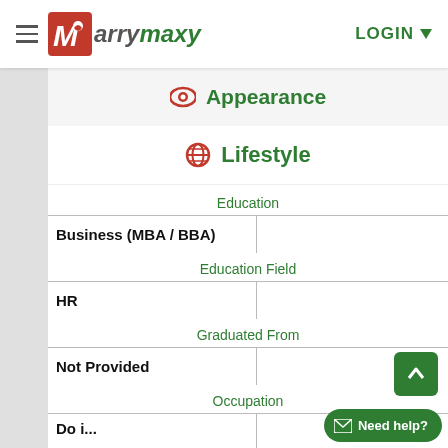MarryMaxy — LOGIN
Appearance
Lifestyle
Education
Business (MBA / BBA)
Education Field
HR
Graduated From
Not Provided
Occupation
Do i...